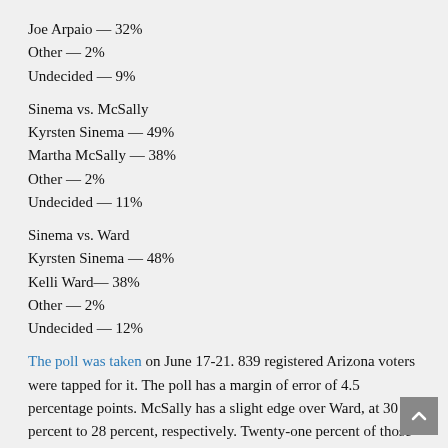Joe Arpaio — 32%
Other — 2%
Undecided — 9%
Sinema vs. McSally
Kyrsten Sinema — 49%
Martha McSally — 38%
Other — 2%
Undecided — 11%
Sinema vs. Ward
Kyrsten Sinema — 48%
Kelli Ward— 38%
Other — 2%
Undecided — 12%
The poll was taken on June 17-21. 839 registered Arizona voters were tapped for it. The poll has a margin of error of 4.5 percentage points. McSally has a slight edge over Ward, at 30 percent to 28 percent, respectively. Twenty-one percent of those surveyed indicated they support Arpaio.